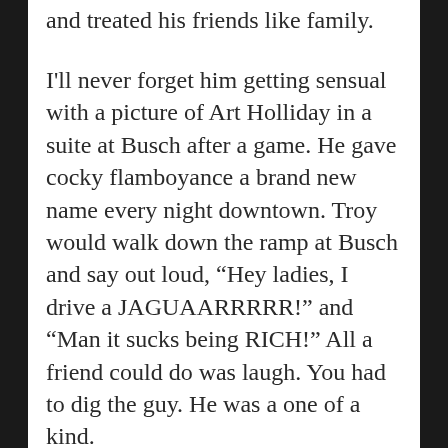and treated his friends like family.
I'll never forget him getting sensual with a picture of Art Holliday in a suite at Busch after a game. He gave cocky flamboyance a brand new name every night downtown. Troy would walk down the ramp at Busch and say out loud, “Hey ladies, I drive a JAGUAARRRRR!” and “Man it sucks being RICH!” All a friend could do was laugh. You had to dig the guy. He was a one of a kind.
I looked up to him like the older